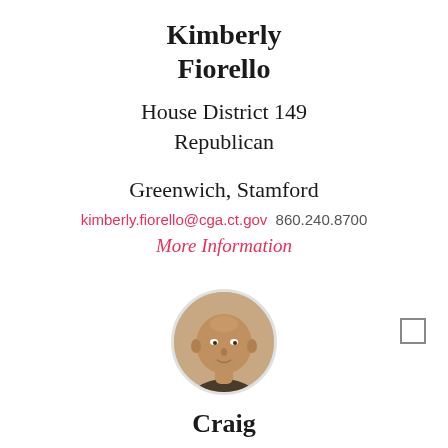Kimberly Fiorello
House District 149
Republican
Greenwich, Stamford
kimberly.fiorello@cga.ct.gov  860.240.8700
More Information
[Figure (photo): Circular headshot photo of a middle-aged bald man]
Craig